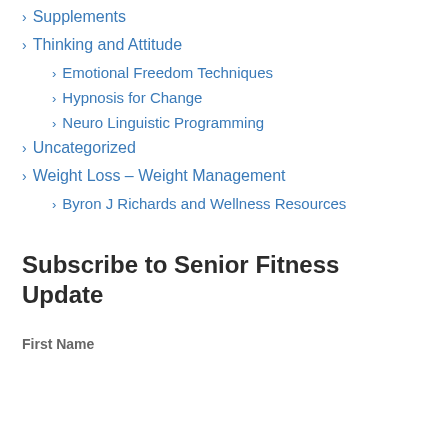Supplements
Thinking and Attitude
Emotional Freedom Techniques
Hypnosis for Change
Neuro Linguistic Programming
Uncategorized
Weight Loss – Weight Management
Byron J Richards and Wellness Resources
Subscribe to Senior Fitness Update
First Name